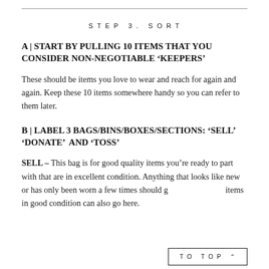STEP 3. SORT
A | START BY PULLING 10 ITEMS THAT YOU CONSIDER NON-NEGOTIABLE 'KEEPERS'
These should be items you love to wear and reach for again and again. Keep these 10 items somewhere handy so you can refer to them later.
B | LABEL 3 BAGS/BINS/BOXES/SECTIONS: 'SELL' 'DONATE'  AND 'TOSS'
SELL – This bag is for good quality items you're ready to part with that are in excellent condition. Anything that looks like new or has only been worn a few times should go here. Designer items in good condition can also go here.